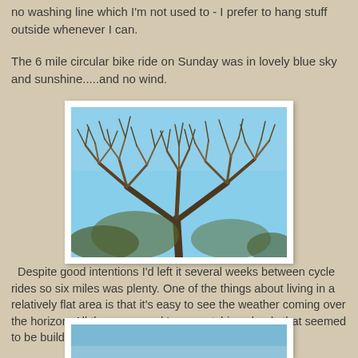no washing line which I'm not used to - I prefer to hang stuff outside whenever I can.
The 6 mile circular bike ride on Sunday was in lovely blue sky and sunshine.....and no wind.
[Figure (photo): Bare leafless tree branches spread wide against a clear blue sky, photographed from below/side angle.]
Despite good intentions I'd left it several weeks between cycle rides so six miles was plenty. One of the things about living in a relatively flat area is that it's easy to see the weather coming over the horizon. All the way round I was watching clouds that seemed to be building up in all directions.
[Figure (photo): Partial photo showing blue sky, cut off at bottom of page.]